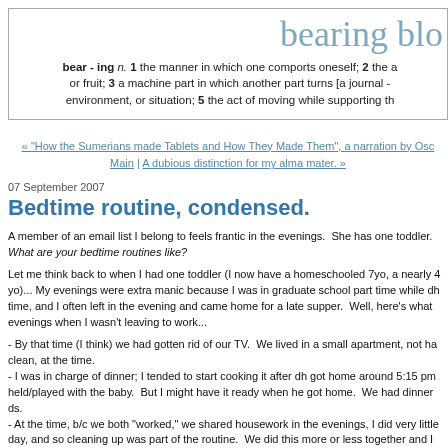bearing blo
bear - ing n. 1 the manner in which one comports oneself; 2 the a or fruit; 3 a machine part in which another part turns [a journal - environment, or situation; 5 the act of moving while supporting th
« "How the Sumerians made Tablets and How They Made Them", a narration by Os Main | A dubious distinction for my alma mater. »
07 September 2007
Bedtime routine, condensed.
A member of an email list I belong to feels frantic in the evenings.  She has one toddler.  What are your bedtime routines like?
Let me think back to when I had one toddler (I now have a homeschooled 7yo, a nearly 4 yo)... My evenings were extra manic because I was in graduate school part time while dh time, and I often left in the evening and came home for a late supper.  Well, here's what evenings when I wasn't leaving to work...
- By that time (I think) we had gotten rid of our TV.  We lived in a small apartment, not ha clean, at the time.
- I was in charge of dinner; I tended to start cooking it after dh got home around 5:15 pm held/played with the baby.  But I might have it ready when he got home.  We had dinner ds.
- At the time, b/c we both "worked," we shared housework in the evenings, I did very little day, and so cleaning up was part of the routine.  We did this more or less together and I could say that was our time to talk to each other about our day and reconnect.